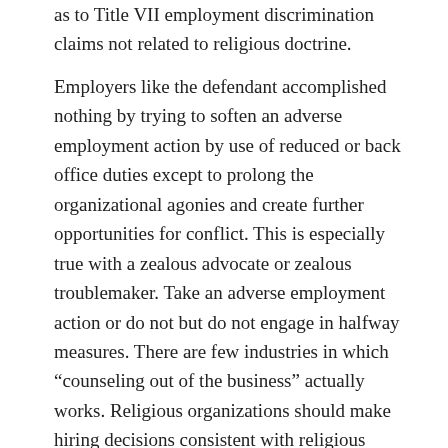as to Title VII employment discrimination claims not related to religious doctrine.
Employers like the defendant accomplished nothing by trying to soften an adverse employment action by use of reduced or back office duties except to prolong the organizational agonies and create further opportunities for conflict. This is especially true with a zealous advocate or zealous troublemaker. Take an adverse employment action or do not but do not engage in halfway measures. There are few industries in which “counseling out of the business” actually works. Religious organizations should make hiring decisions consistent with religious doctrine so that they need not make firing decisions based on it. New hires should sign a statement of doctrines, a morals clause, and a statement that their job has a role in implementing the religious doctrine – by example if nothing else.